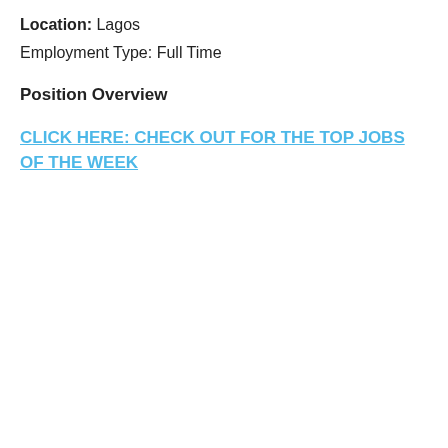Location: Lagos
Employment Type: Full Time
Position Overview
CLICK HERE: CHECK OUT FOR THE TOP JOBS OF THE WEEK